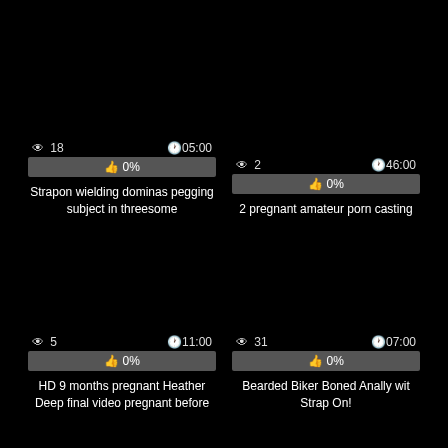👁 18   🕐05:00   👍 0%   Strapon wielding dominas pegging subject in threesome
👁 2   🕐46:00   👍 0%   2 pregnant amateur porn casting
👁 5   🕐11:00   👍 0%   HD 9 months pregnant Heather Deep final video pregnant before
👁 31   🕐07:00   👍 0%   Bearded Biker Boned Anally wit Strap On!